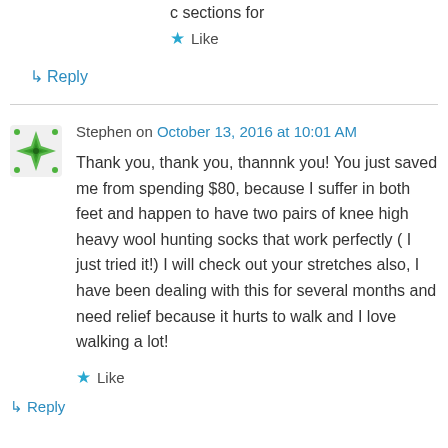c sections for
Like
↳ Reply
Stephen on October 13, 2016 at 10:01 AM
Thank you, thank you, thannnk you! You just saved me from spending $80, because I suffer in both feet and happen to have two pairs of knee high heavy wool hunting socks that work perfectly ( I just tried it!) I will check out your stretches also, I have been dealing with this for several months and need relief because it hurts to walk and I love walking a lot!
Like
↳ Reply